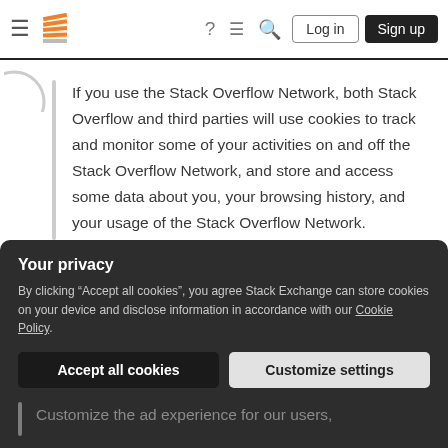Stack Overflow navigation bar with hamburger menu, logo, help, chat, search icons, Log in and Sign up buttons
If you use the Stack Overflow Network, both Stack Overflow and third parties will use cookies to track and monitor some of your activities on and off the Stack Overflow Network, and store and access some data about you, your browsing history, and your usage of the Stack Overflow Network.
Your privacy
By clicking "Accept all cookies", you agree Stack Exchange can store cookies on your device and disclose information in accordance with our Cookie Policy.
Accept all cookies
Customize settings
Customize the ad experience for our users,